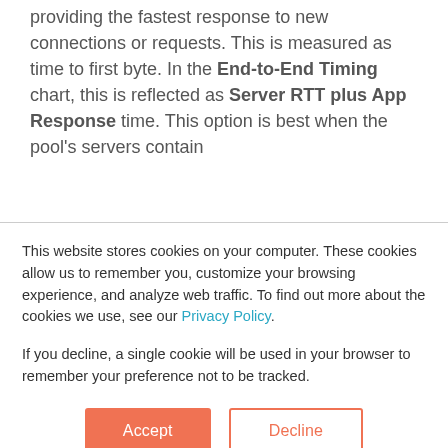providing the fastest response to new connections or requests. This is measured as time to first byte. In the End-to-End Timing chart, this is reflected as Server RTT plus App Response time. This option is best when the pool's servers contain
This website stores cookies on your computer. These cookies allow us to remember you, customize your browsing experience, and analyze web traffic. To find out more about the cookies we use, see our Privacy Policy.
If you decline, a single cookie will be used in your browser to remember your preference not to be tracked.